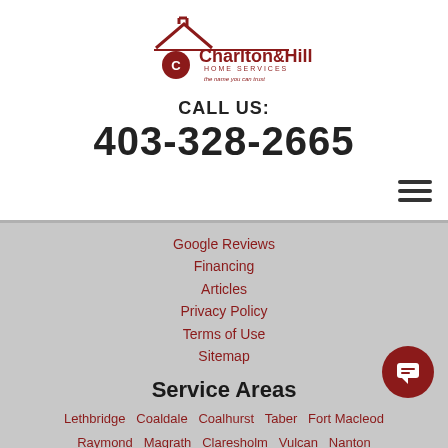[Figure (logo): Charlton & Hill Home Services logo with house roof graphic and tagline 'the name you can trust']
CALL US:
403-328-2665
Google Reviews
Financing
Articles
Privacy Policy
Terms of Use
Sitemap
Service Areas
Lethbridge  Coaldale  Coalhurst  Taber  Fort Macleod  Raymond  Magrath  Claresholm  Vulcan  Nanton